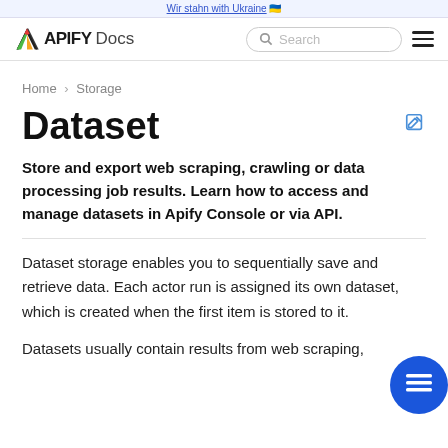Wir stahn with Ukraine 🇺🇦
APIFY Docs
Home › Storage
Dataset
Store and export web scraping, crawling or data processing job results. Learn how to access and manage datasets in Apify Console or via API.
Dataset storage enables you to sequentially save and retrieve data. Each actor run is assigned its own dataset, which is created when the first item is stored to it.
Datasets usually contain results from web scraping,